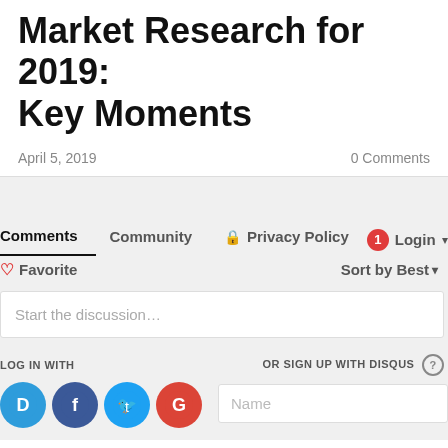Market Research for 2019: Key Moments
April 5, 2019
0 Comments
Comments   Community   Privacy Policy   Login
Favorite   Sort by Best
Start the discussion…
LOG IN WITH
OR SIGN UP WITH DISQUS
Name